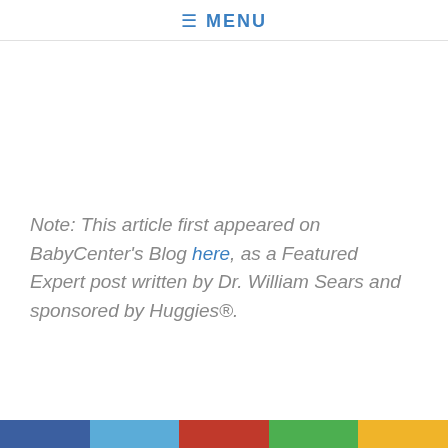≡ MENU
Note: This article first appeared on BabyCenter's Blog here, as a Featured Expert post written by Dr. William Sears and sponsored by Huggies®.